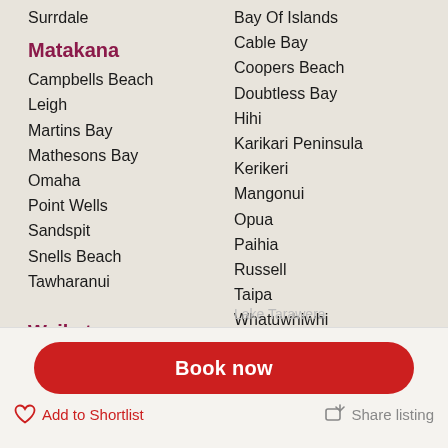Surrdale
Bay Of Islands
Cable Bay
Matakana
Coopers Beach
Campbells Beach
Doubtless Bay
Leigh
Hihi
Martins Bay
Karikari Peninsula
Mathesons Bay
Kerikeri
Omaha
Mangonui
Point Wells
Opua
Sandspit
Paihia
Snells Beach
Russell
Tawharanui
Taipa
Whatuwhiwhi
Waikato
Rotorua
Raglan
Hamurana
Hamilton
Lake Okareka (faded)
Pomutukawa Coast (faded)
Lake Tikitapu (faded)
Lake Tarawera (faded)